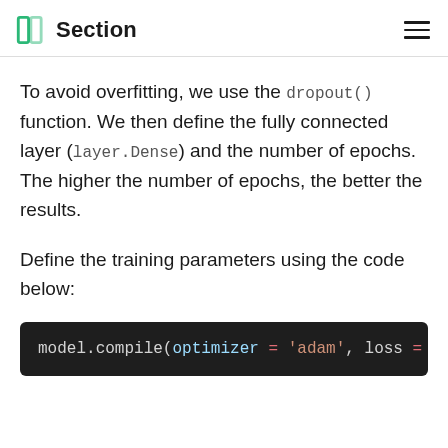Section
To avoid overfitting, we use the dropout() function. We then define the fully connected layer (layer.Dense) and the number of epochs. The higher the number of epochs, the better the results.
Define the training parameters using the code below:
[Figure (screenshot): Dark-themed code block showing: model.compile(optimizer = 'adam', loss =]